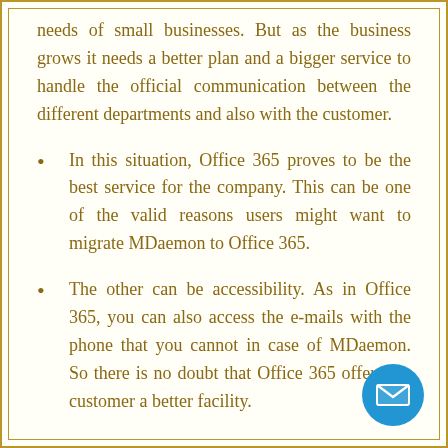needs of small businesses. But as the business grows it needs a better plan and a bigger service to handle the official communication between the different departments and also with the customer.
In this situation, Office 365 proves to be the best service for the company. This can be one of the valid reasons users might want to migrate MDaemon to Office 365.
The other can be accessibility. As in Office 365, you can also access the e-mails with the phone that you cannot in case of MDaemon. So there is no doubt that Office 365 offers the customer a better facility.